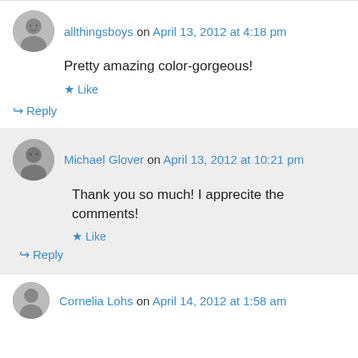allthingsboys on April 13, 2012 at 4:18 pm
Pretty amazing color-gorgeous!
Like
Reply
Michael Glover on April 13, 2012 at 10:21 pm
Thank you so much! I apprecite the comments!
Like
Reply
Cornelia Lohs on April 14, 2012 at 1:58 am